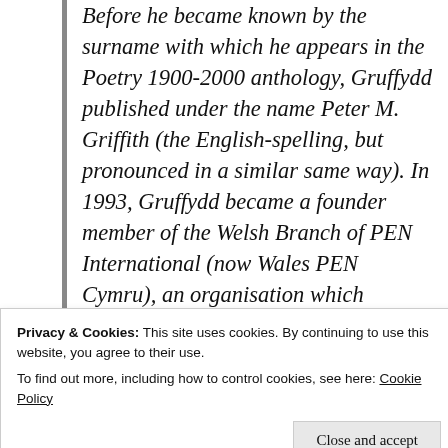Before he became known by the surname with which he appears in the Poetry 1900-2000 anthology, Gruffydd published under the name Peter M. Griffith (the English-spelling, but pronounced in a similar same way). In 1993, Gruffydd became a founder member of the Welsh Branch of PEN International (now Wales PEN Cymru), an organisation which advocates on behalf of writers across the world.
Privacy & Cookies: This site uses cookies. By continuing to use this website, you agree to their use.
To find out more, including how to control cookies, see here: Cookie Policy